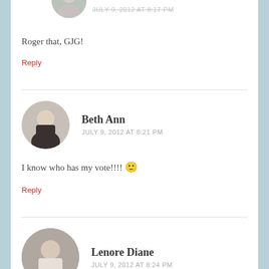JULY 9, 2012 AT 8:17 PM (partial, top)
Roger that, GJG!
Reply
Beth Ann
JULY 9, 2012 AT 8:21 PM
I know who has my vote!!!! 🙂
Reply
Lenore Diane
JULY 9, 2012 AT 8:24 PM